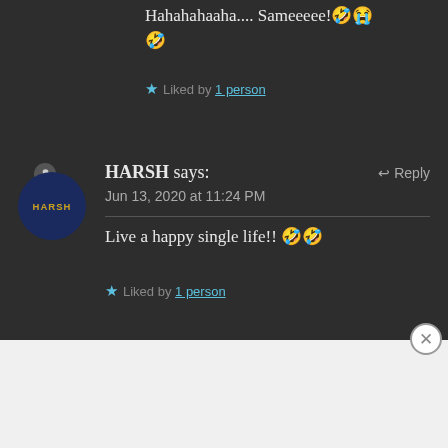Hahahahaaha.... Sameeeee! 🤣😭 🤣
★ Liked by 1 person
HARSH says:   ↩ Reply
Jun 13, 2020 at 11:24 PM
Live a happy single life!! 🤣🤣
★ Liked by 1 person
Advertisements
AUTOMATTIC
Build a better web and a better world.